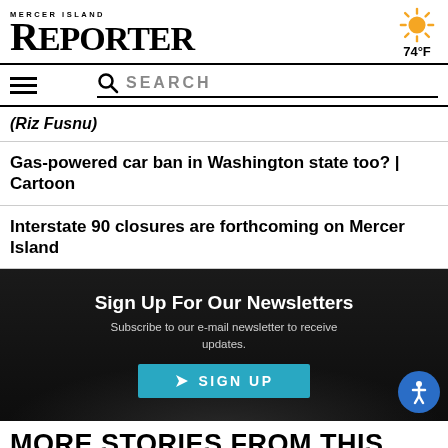MERCER ISLAND REPORTER 74°F
(Riz Fusnu)
Gas-powered car ban in Washington state too? | Cartoon
Interstate 90 closures are forthcoming on Mercer Island
[Figure (infographic): Newsletter sign-up box with dark background, title 'Sign Up For Our Newsletters', subtitle 'Subscribe to our e-mail newsletter to receive updates.', and a teal SIGN UP button with arrow icon]
MORE STORIES FROM THIS